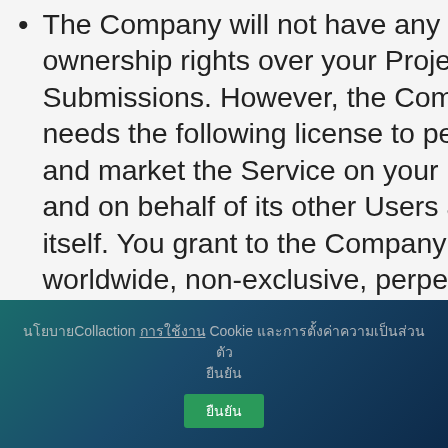The Company will not have any ownership rights over your Project Submissions. However, the Company needs the following license to perform and market the Service on your behalf and on behalf of its other Users and itself. You grant to the Company the worldwide, non-exclusive, perpetual, irrevocable, royalty-free, sub-licensable, transferable right to (and to allow others acting on its behalf to) (i) use, edit, modify, prepare derivative works of, reproduce, host, display, stream...
นโยบายCollaction การใช้งาน Cookie และการตั้งค่าความเป็นส่วนตัว ยืนยัน